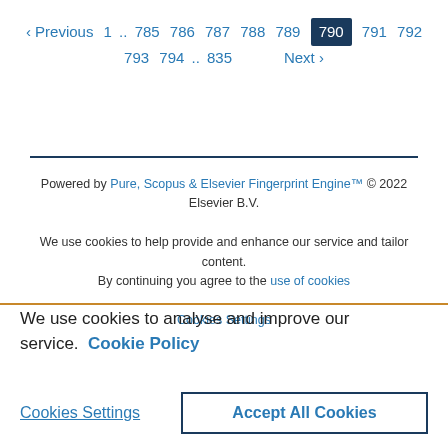‹ Previous  1 .. 785 786 787 788 789 790 791 792 793 794 .. 835  Next ›
Powered by Pure, Scopus & Elsevier Fingerprint Engine™ © 2022 Elsevier B.V.
We use cookies to help provide and enhance our service and tailor content. By continuing you agree to the use of cookies
Cookies Settings
We use cookies to analyse and improve our service. Cookie Policy
Cookies Settings   Accept All Cookies